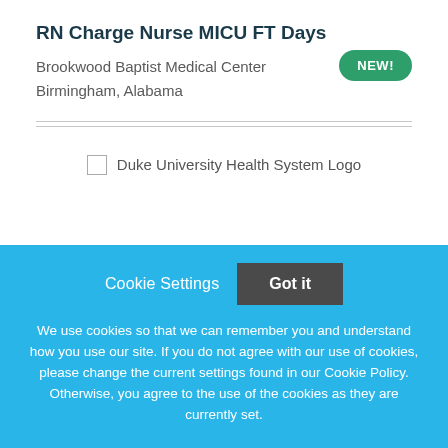RN Charge Nurse MICU FT Days
Brookwood Baptist Medical Center
Birmingham, Alabama
[Figure (logo): Duke University Health System Logo placeholder image]
Cookie Settings   Got it
We use cookies so that we can remember you and understand how you use our site. If you do not agree with our use of cookies, please change the current settings found in our Cookie Policy. Otherwise, you agree to the use of the cookies as they are currently set.